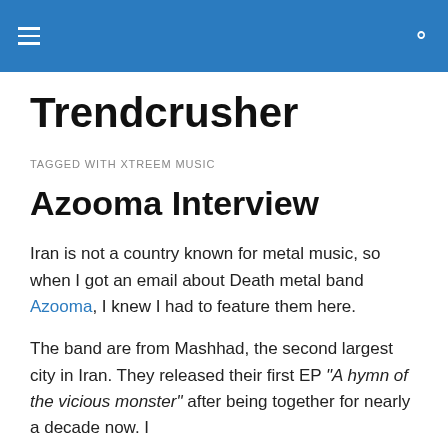Trendcrusher — navigation bar
Trendcrusher
TAGGED WITH XTREEM MUSIC
Azooma Interview
Iran is not a country known for metal music, so when I got an email about Death metal band Azooma, I knew I had to feature them here.
The band are from Mashhad, the second largest city in Iran. They released their first EP “A hymn of the vicious monster” after being together for nearly a decade now. I